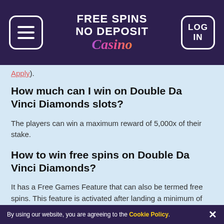FREE SPINS NO DEPOSIT Casino
Apply).
How much can I win on Double Da Vinci Diamonds slots?
The players can win a maximum reward of 5,000x of their stake.
How to win free spins on Double Da Vinci Diamonds?
It has a Free Games Feature that can also be termed free spins. This feature is activated after landing a minimum of three scatter symbols. The players can win between 10 to 10 free spins from this round. Also,
By using our website, you are agreeing to the Cookie Policy. ×